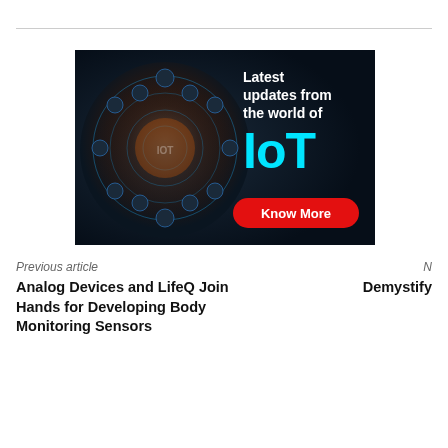[Figure (infographic): IoT advertisement banner with a glowing globe made of IoT icons on dark background, text 'Latest updates from the world of IoT' and a red 'Know More' button.]
Previous article
Analog Devices and LifeQ Join Hands for Developing Body Monitoring Sensors
N
Demystify